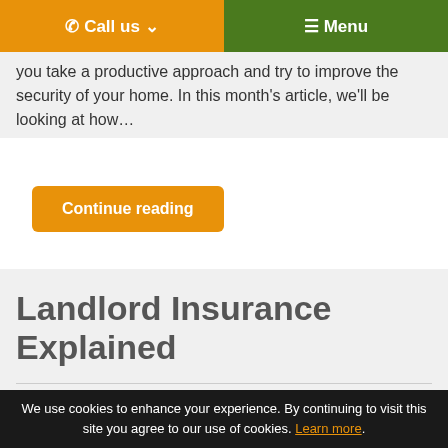☎ Call us ↓   ☰ Menu
you take a productive approach and try to improve the security of your home. In this month's article, we'll be looking at how…
Continue reading
Landlord Insurance Explained
Posted by: The Insurance Store · on 21 July 2016
Properly insuring your property is an absolute must for
We use cookies to enhance your experience. By continuing to visit this site you agree to our use of cookies. Learn more.